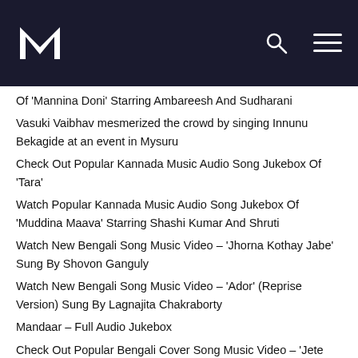M [logo] [search icon] [menu icon]
Of 'Mannina Doni' Starring Ambareesh And Sudharani
Vasuki Vaibhav mesmerized the crowd by singing Innunu Bekagide at an event in Mysuru
Check Out Popular Kannada Music Audio Song Jukebox Of 'Tara'
Watch Popular Kannada Music Audio Song Jukebox Of 'Muddina Maava' Starring Shashi Kumar And Shruti
Watch New Bengali Song Music Video – 'Jhorna Kothay Jabe' Sung By Shovon Ganguly
Watch New Bengali Song Music Video – 'Ador' (Reprise Version) Sung By Lagnajita Chakraborty
Mandaar – Full Audio Jukebox
Check Out Popular Bengali Cover Song Music Video – 'Jete Dao Amay Deko Na' Sung By Abir Biswas
Check Out Popular Bengali Lofi Version Song Music Audio – 'Amar Mawte' Sung By Lopamudra Mitra
Watch New Bengali Song Music Video – Adol S...